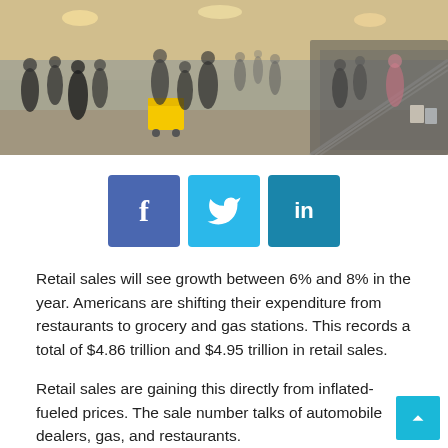[Figure (photo): Shopping mall interior with crowds of people walking and an escalator visible, overhead view]
[Figure (infographic): Social media share buttons: Facebook (dark blue), Twitter (light blue), LinkedIn (teal blue)]
Retail sales will see growth between 6% and 8% in the year. Americans are shifting their expenditure from restaurants to grocery and gas stations. This records a total of $4.86 trillion and $4.95 trillion in retail sales.
Retail sales are gaining this directly from inflated-fueled prices. The sale number talks of automobile dealers, gas, and restaurants.